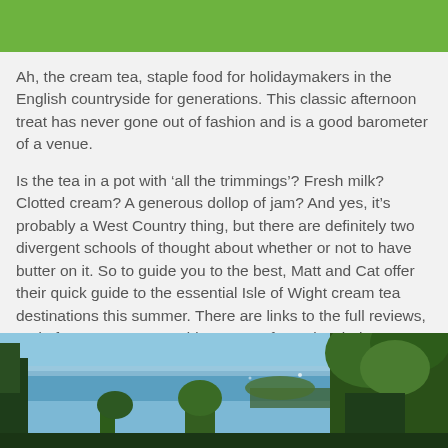Ah, the cream tea, staple food for holidaymakers in the English countryside for generations. This classic afternoon treat has never gone out of fashion and is a good barometer of a venue.
Is the tea in a pot with ‘all the trimmings’? Fresh milk? Clotted cream? A generous dollop of jam? And yes, it’s probably a West Country thing, but there are definitely two divergent schools of thought about whether or not to have butter on it. So to guide you to the best, Matt and Cat offer their quick guide to the essential Isle of Wight cream tea destinations this summer. There are links to the full reviews, and of course you can add your own favourites below!
[Figure (photo): Outdoor coastal landscape photo showing blue sea and sky with trees/vegetation in the foreground]